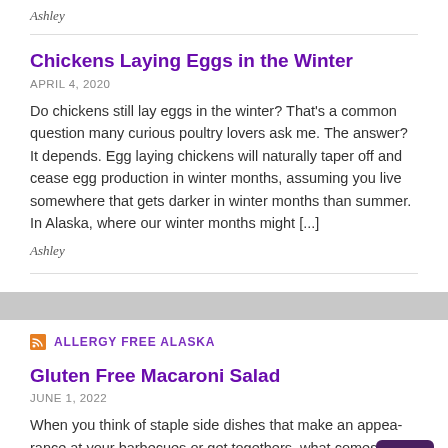Ashley
Chickens Laying Eggs in the Winter
APRIL 4, 2020
Do chickens still lay eggs in the winter? That's a common question many curious poultry lovers ask me. The answer? It depends. Egg laying chickens will naturally taper off and cease egg production in winter months, assuming you live somewhere that gets darker in winter months than summer. In Alaska, where our winter months might [...]
Ashley
ALLERGY FREE ALASKA
Gluten Free Macaroni Salad
JUNE 1, 2022
When you think of staple side dishes that make an appearance at your barbecues or get togethers, what comes to mind? Fresh fruit, corn on the cob, and my personal favorite, gluten free